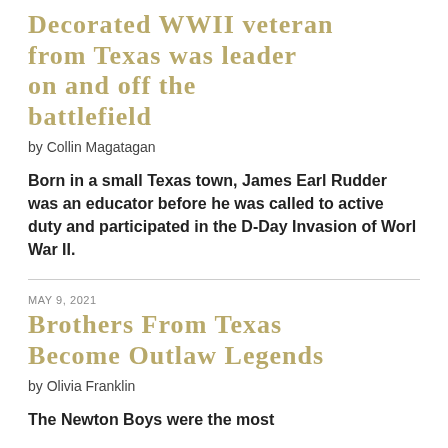Decorated WWII veteran from Texas was leader on and off the battlefield
by Collin Magatagan
Born in a small Texas town, James Earl Rudder was an educator before he was called to active duty and participated in the D-Day Invasion of Worl War II.
MAY 9, 2021
Brothers From Texas Become Outlaw Legends
by Olivia Franklin
The Newton Boys were the most